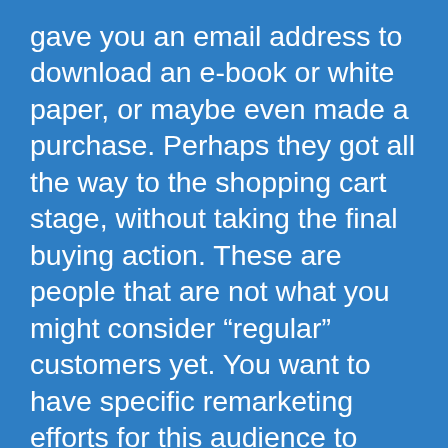gave you an email address to download an e-book or white paper, or maybe even made a purchase. Perhaps they got all the way to the shopping cart stage, without taking the final buying action. These are people that are not what you might consider “regular” customers yet. You want to have specific remarketing efforts for this audience to remind them of why they like your business, and motivate them to take another action. This is also where the concept of the “similar” audience is useful – if it works well for your current